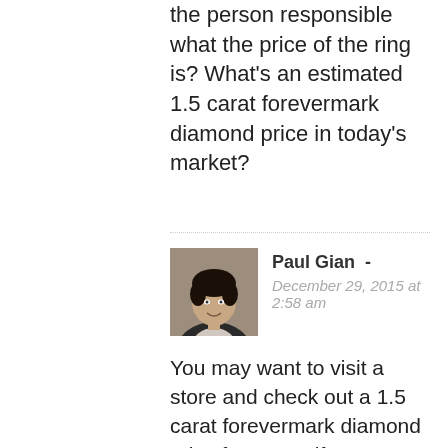the person responsible what the price of the ring is? What's an estimated 1.5 carat forevermark diamond price in today's market?
Paul Gian - December 29, 2015 at 2:58 am
You may want to visit a store and check out a 1.5 carat forevermark diamond price for yourself. I can't provide an estimate as there are too many moving parts and factors that affect a diamond's value like color/clarity/cut. Even the setting itself would also affect its value. You should probably contact the jeweler you bought the item from. Don't get your hopes high though. Any